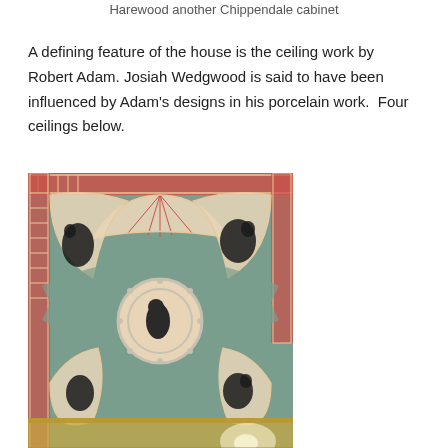Harewood another Chippendale cabinet
A defining feature of the house is the ceiling work by Robert Adam. Josiah Wedgwood is said to have been influenced by Adam's designs in his porcelain work.  Four ceilings below.
[Figure (photo): Photograph of an ornate Robert Adam ceiling at Harewood House, showing fan-shaped and circular decorative plasterwork motifs in sage green, cream, red and black against a light background, with gilded cornice visible at the bottom.]